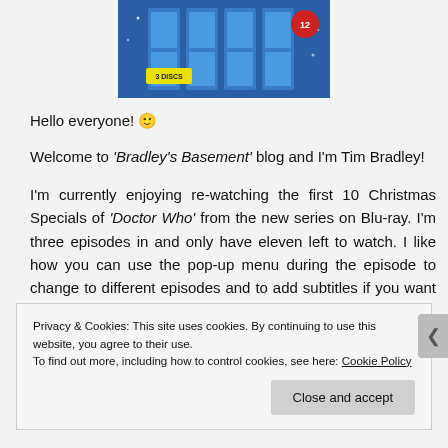[Figure (illustration): Doctor Who Christmas Specials Blu-ray box set cover image — blue TARDIS doors design on a dark blue background with '3 DISCS' label and a red rating badge]
Hello everyone! 🙂
Welcome to 'Bradley's Basement' blog and I'm Tim Bradley!
I'm currently enjoying re-watching the first 10 Christmas Specials of 'Doctor Who' from the new series on Blu-ray. I'm three episodes in and only have eleven left to watch. I like how you can use the pop-up menu during the episode to change to different episodes and to add subtitles if you want to.
Privacy & Cookies: This site uses cookies. By continuing to use this website, you agree to their use.
To find out more, including how to control cookies, see here: Cookie Policy
Close and accept